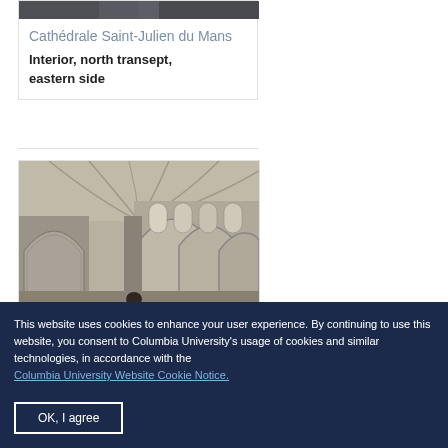[Figure (photo): Top portion of a cathedral interior photo, cropped at top of page]
Cathédrale Saint-Julien du Mans
Interior, north transept, eastern side
[Figure (photo): Cathedral interior showing gothic arches, vaulted ceiling and stone columns]
This website uses cookies to enhance your user experience. By continuing to use this website, you consent to Columbia University's usage of cookies and similar technologies, in accordance with the Columbia University Website Cookie Notice.
OK, I agree